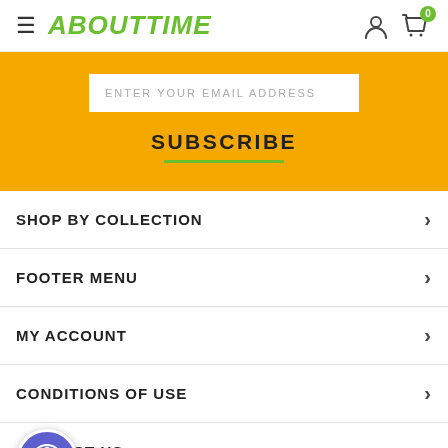ABOUTTIME — navigation header with hamburger menu, logo, user icon, and cart (0)
ENTER YOUR EMAIL ADDRESS
SUBSCRIBE
SHOP BY COLLECTION
FOOTER MENU
MY ACCOUNT
CONDITIONS OF USE
CONTACT US
[Figure (illustration): Accessibility (a11y) button with person icon in purple circle]